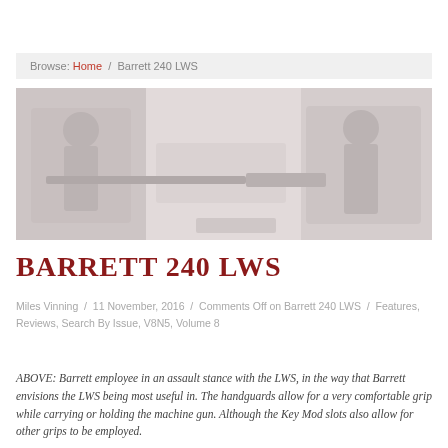Browse: Home / Barrett 240 LWS
[Figure (photo): Photo of a Barrett employee in an assault stance with the LWS machine gun]
BARRETT 240 LWS
Miles Vinning / 11 November, 2016 / Comments Off on Barrett 240 LWS / Features, Reviews, Search By Issue, V8N5, Volume 8
ABOVE: Barrett employee in an assault stance with the LWS, in the way that Barrett envisions the LWS being most useful in. The handguards allow for a very comfortable grip while carrying or holding the machine gun. Although the Key Mod slots also allow for other grips to be employed.